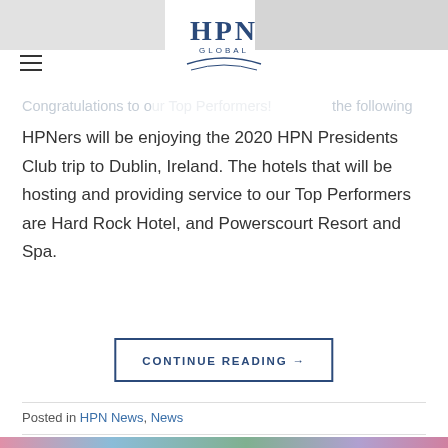[Figure (logo): HPN Global logo with stylized H, P, N letters and curved swoosh underline]
Congratulations to our Top Performers! The following HPNers will be enjoying the 2020 HPN Presidents Club trip to Dublin, Ireland. The hotels that will be hosting and providing service to our Top Performers are Hard Rock Hotel, and Powerscourt Resort and Spa.
CONTINUE READING →
Posted in HPN News, News
HPN NEWS, NEWS
#HPN19 Partner Conference Highlights
POSTED ON NOVEMBER 25, 2019 BY ADMINISTRATOR